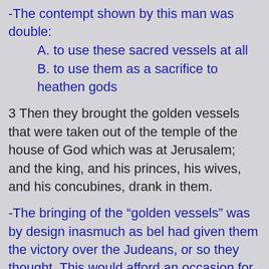-The contempt shown by this man was double:
A. to use these sacred vessels at all
B. to use them as a sacrifice to heathen gods
3 Then they brought the golden vessels that were taken out of the temple of the house of God which was at Jerusalem; and the king, and his princes, his wives, and his concubines, drank in them.
-The bringing of the “golden vessels” was by design inasmuch as bel had given them the victory over the Judeans, or so they thought. This would afford an occasion for praising bel,